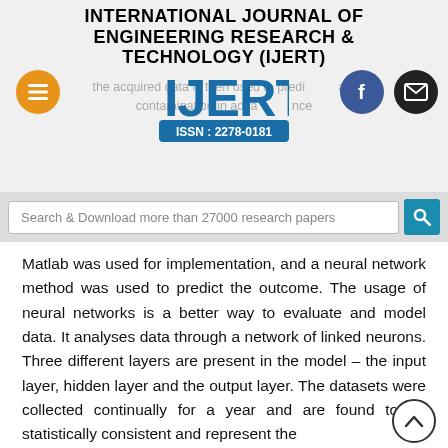INTERNATIONAL JOURNAL OF ENGINEERING RESEARCH & TECHNOLOGY (IJERT)
[Figure (logo): IJERT logo with ISSN : 2278-0181]
the acquired data is then used to predict water contamination in advance
Search & Download more than 27000 research papers
Matlab was used for implementation, and a neural network method was used to predict the outcome. The usage of neural networks is a better way to evaluate and model data. It analyses data through a network of linked neurons. Three different layers are present in the model – the input layer, hidden layer and the output layer. The datasets were collected continually for a year and are found to be statistically consistent and represent the